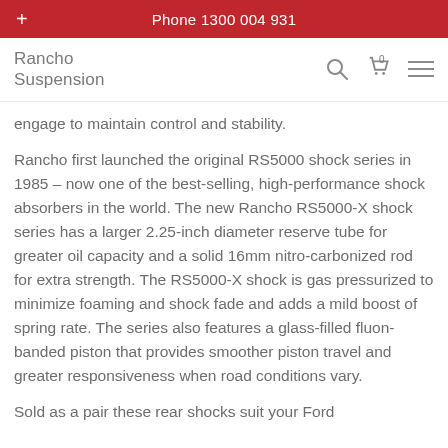Phone 1300 004 931
Rancho Suspension
engage to maintain control and stability.
Rancho first launched the original RS5000 shock series in 1985 – now one of the best-selling, high-performance shock absorbers in the world. The new Rancho RS5000-X shock series has a larger 2.25-inch diameter reserve tube for greater oil capacity and a solid 16mm nitro-carbonized rod for extra strength. The RS5000-X shock is gas pressurized to minimize foaming and shock fade and adds a mild boost of spring rate. The series also features a glass-filled fluon-banded piston that provides smoother piston travel and greater responsiveness when road conditions vary.
Sold as a pair these rear shocks suit your Ford